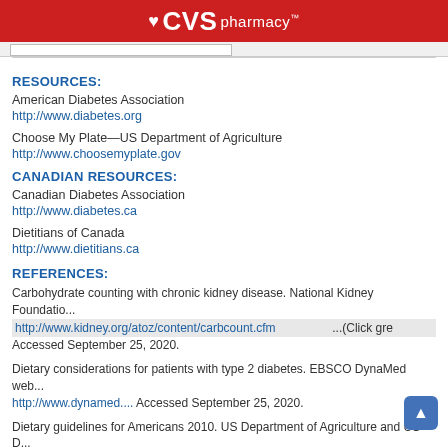[Figure (logo): CVS Pharmacy logo with heart icon on red background]
RESOURCES:
American Diabetes Association
http://www.diabetes.org
Choose My Plate—US Department of Agriculture
http://www.choosemyplate.gov
CANADIAN RESOURCES:
Canadian Diabetes Association
http://www.diabetes.ca
Dietitians of Canada
http://www.dietitians.ca
REFERENCES:
Carbohydrate counting with chronic kidney disease. National Kidney Foundatio... http://www.kidney.org/atoz/content/carbcount.cfm ...(Click gre... Accessed September 25, 2020.
Dietary considerations for patients with type 2 diabetes. EBSCO DynaMed web... http://www.dynamed.... Accessed September 25, 2020.
Dietary guidelines for Americans 2010. US Department of Agriculture and US D... and Human Services. Available at: